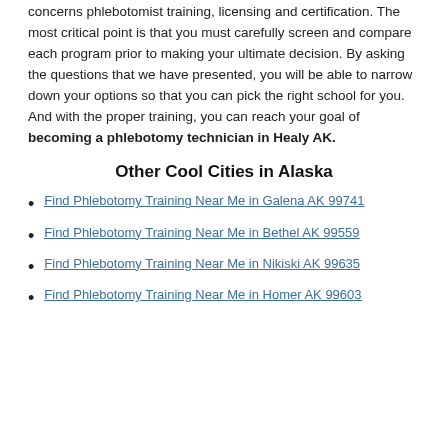concerns phlebotomist training, licensing and certification. The most critical point is that you must carefully screen and compare each program prior to making your ultimate decision. By asking the questions that we have presented, you will be able to narrow down your options so that you can pick the right school for you. And with the proper training, you can reach your goal of becoming a phlebotomy technician in Healy AK.
Other Cool Cities in Alaska
Find Phlebotomy Training Near Me in Galena AK 99741
Find Phlebotomy Training Near Me in Bethel AK 99559
Find Phlebotomy Training Near Me in Nikiski AK 99635
Find Phlebotomy Training Near Me in Homer AK 99603